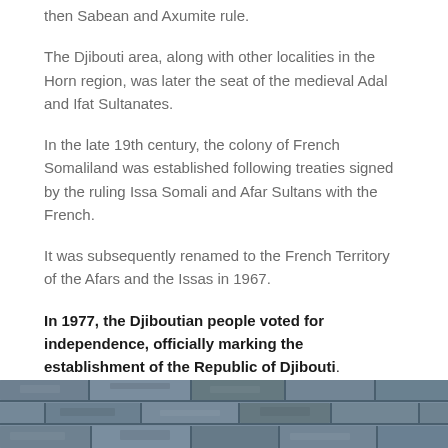then Sabean and Axumite rule.
The Djibouti area, along with other localities in the Horn region, was later the seat of the medieval Adal and Ifat Sultanates.
In the late 19th century, the colony of French Somaliland was established following treaties signed by the ruling Issa Somali and Afar Sultans with the French.
It was subsequently renamed to the French Territory of the Afars and the Issas in 1967.
In 1977, the Djiboutian people voted for independence, officially marking the establishment of the Republic of Djibouti.
[Figure (photo): Close-up photograph of stone or brick wall with rough textured surface in blue-grey tones]